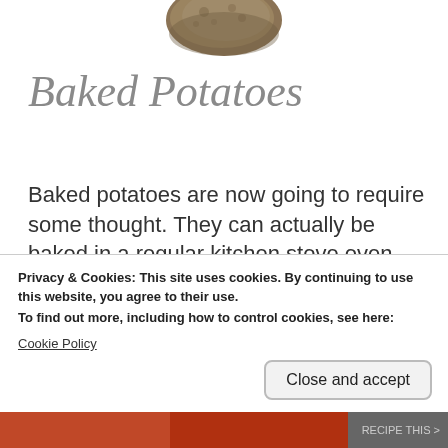[Figure (photo): Partial view of a baked potato at the top center of the page]
Baked Potatoes
Baked potatoes are now going to require some thought. They can actually be baked in a regular kitchen stove oven. Who would have thunk it? Or in my slow cooker, if I can remember to  get
Privacy & Cookies: This site uses cookies. By continuing to use this website, you agree to their use.
To find out more, including how to control cookies, see here:
Cookie Policy
Close and accept